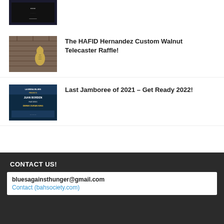[Figure (photo): Thumbnail image - dark background with figures]
[Figure (photo): Thumbnail image - brick wall background with guitar]
The HAFID Hernandez Custom Walnut Telecaster Raffle!
[Figure (photo): Thumbnail image - event flyer with performers Juan Borden and Derek Duran King]
Last Jamboree of 2021 - Get Ready 2022!
CONTACT US!
bluesagainsthunger@gmail.com
Contact (bahsociety.com)